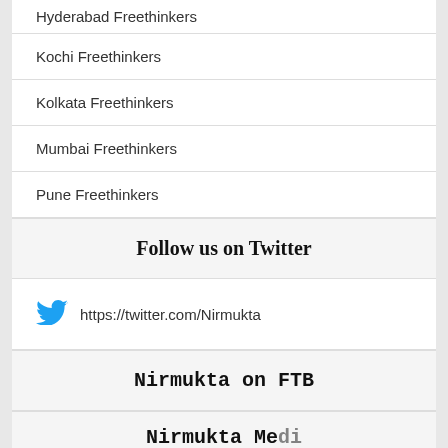Hyderabad Freethinkers
Kochi Freethinkers
Kolkata Freethinkers
Mumbai Freethinkers
Pune Freethinkers
Follow us on Twitter
https://twitter.com/Nirmukta
Nirmukta on FTB
Nirmukta Media